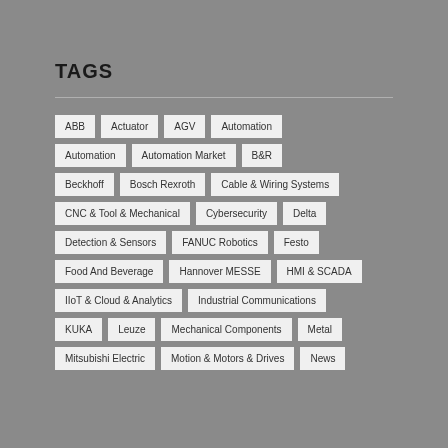TAGS
ABB
Actuator
AGV
Automation
Automation
Automation Market
B&R
Beckhoff
Bosch Rexroth
Cable & Wiring Systems
CNC & Tool & Mechanical
Cybersecurity
Delta
Detection & Sensors
FANUC Robotics
Festo
Food And Beverage
Hannover MESSE
HMI & SCADA
IIoT & Cloud & Analytics
Industrial Communications
KUKA
Leuze
Mechanical Components
Metal
Mitsubishi Electric
Motion & Motors & Drives
News